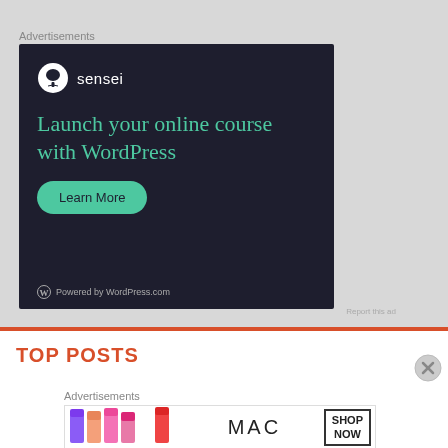Advertisements
[Figure (illustration): Sensei advertisement banner on dark navy background. Shows Sensei logo (tree icon in circle) and brand name, headline 'Launch your online course with WordPress' in teal/green serif font, a teal 'Learn More' pill-shaped button, and 'Powered by WordPress.com' footer.]
TOP POSTS
Advertisements
[Figure (illustration): MAC Cosmetics advertisement showing colorful lipsticks on the left and MAC logo text with a 'SHOP NOW' button box on the right.]